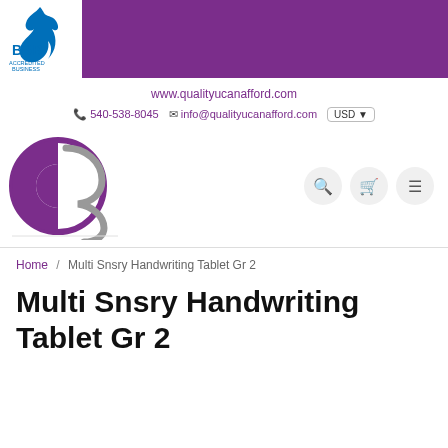[Figure (logo): BBB Accredited Business logo in white box on purple header banner]
www.qualityucanafford.com
540-538-8045   info@qualityucanafford.com   USD
[Figure (logo): Quality U Can Afford site logo - circular purple and gray emblem with letters B and S]
Home / Multi Snsry Handwriting Tablet Gr 2
Multi Snsry Handwriting Tablet Gr 2